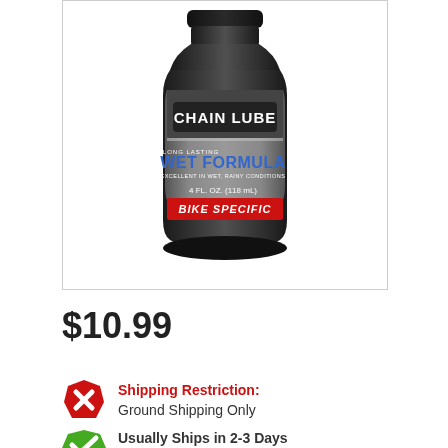[Figure (photo): Maxima Chain Lube bottle - black bottle with grey and red label. Text on label: CHAIN LUBE, Long Lasting, WET FORMULA, EXCELLENT IN WET, RAINY CONDITIONS, 4 FL. OZ. (118 mL), BIKE SPECIFIC]
$10.99
Shipping Restriction: Ground Shipping Only
Usually Ships in 2-3 Days